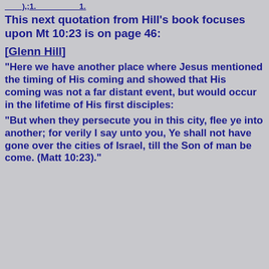__),1.__________1.
This next quotation from Hill's book focuses upon Mt 10:23 is on page 46:
[Glenn Hill]
"Here we have another place where Jesus mentioned the timing of His coming and showed that His coming was not a far distant event, but would occur in the lifetime of His first disciples:
"But when they persecute you in this city, flee ye into another; for verily I say unto you, Ye shall not have gone over the cities of Israel, till the Son of man be come. (Matt 10:23)."